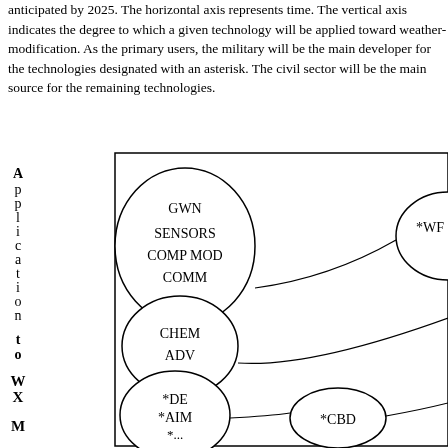anticipated by 2025. The horizontal axis represents time. The vertical axis indicates the degree to which a given technology will be applied toward weather-modification. As the primary users, the military will be the main developer for the technologies designated with an asterisk. The civil sector will be the main source for the remaining technologies.
[Figure (other): Scatter plot diagram with vertical axis labeled 'Application to' with levels WX, M and ellipses containing technology groups: GWN/SENSORS/COMP MOD/COMM (upper left), *WF (upper right, partially visible), CHEM/ADV (middle left), *DE/*AIM/*... (lower left), *CBD (lower right area). Lines connect the ellipses.]